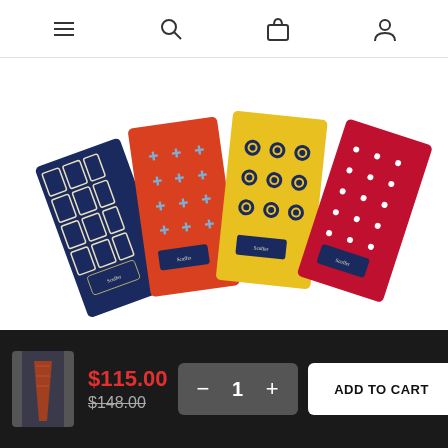[Figure (screenshot): E-commerce website navigation bar with hamburger menu, search, cart, and user account icons]
[Figure (photo): Four folded silk pocket squares/ties fanned out: navy blue with white grid pattern, red/orange with blue cross pattern, yellow with blue circle/square pattern, and red with white dot pattern. Each has a small brand label reading 'Scuffer'.]
[Figure (photo): Small thumbnail image of a man wearing a patterned tie with a suit]
$115.00
$148.00
1
ADD TO CART